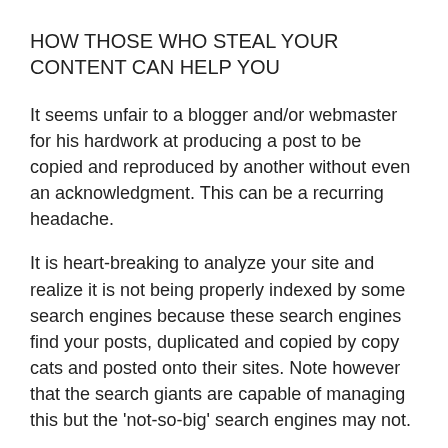HOW THOSE WHO STEAL YOUR CONTENT CAN HELP YOU
It seems unfair to a blogger and/or webmaster for his hardwork at producing a post to be copied and reproduced by another without even an acknowledgment. This can be a recurring headache.
It is heart-breaking to analyze your site and realize it is not being properly indexed by some search engines because these search engines find your posts, duplicated and copied by copy cats and posted onto their sites. Note however that the search giants are capable of managing this but the 'not-so-big' search engines may not.
Copyscape?
Did i hear you say, 'ahh i use Copyscape on my site !' Suffice it to say that Copyscape simply tracks and notifies you if your content has been copied. It does nothing about it.
But there is a way to use the copying and reproducing of